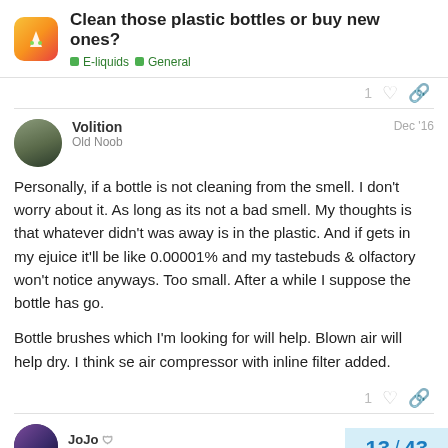Clean those plastic bottles or buy new ones? | E-liquids | General
Volition
Old Noob
Dec '16
Personally, if a bottle is not cleaning from the smell. I don't worry about it. As long as its not a bad smell. My thoughts is that whatever didn't was away is in the plastic. And if gets in my ejuice it'll be like 0.00001% and my tastebuds & olfactory won't notice anyways. Too small. After a while I suppose the bottle has go.

Bottle brushes which I'm looking for will help. Blown air will help dry. I think se air compressor with inline filter added.
JoJo
Decimal Daughter
13 / 43